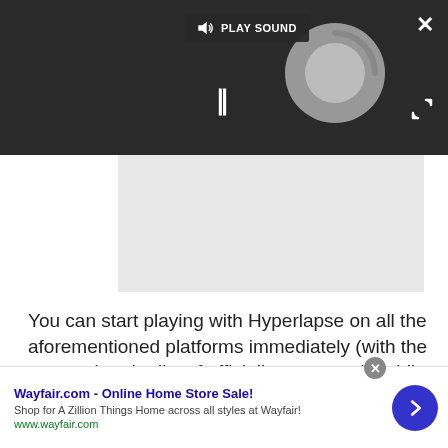[Figure (screenshot): Dark video player overlay with 'PLAY SOUND' button, pause button (two vertical bars), a loading spinner circle, and an X close button. Below is a gray placeholder video area.]
You can start playing with Hyperlapse on all the aforementioned platforms immediately (with the caveat that the list of officially supported mobile devices is relatively small). The landing page is available here, which contains additional information and download links.
[Figure (screenshot): Advertisement banner for Wayfair.com with title 'Wayfair.com - Online Home Store Sale!', description 'Shop for A Zillion Things Home across all styles at Wayfair!', URL 'www.wayfair.com', a close circle button, and a blue arrow button.]